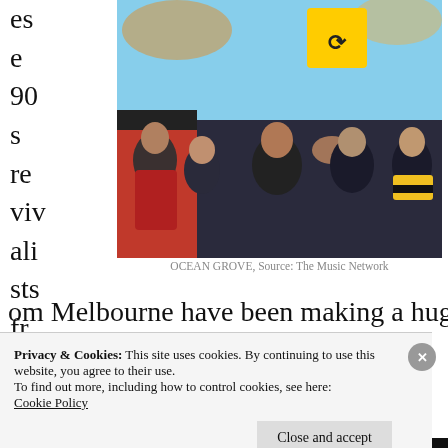es
e
90
s
re
viv
ali
sts
fr
[Figure (photo): Band photo of Ocean Grove, five young men posing outdoors near a yellow road sign with blue sky background]
OCEAN GROVE, Source: The Music Network
om Melbourne have been making a huge scene
Privacy & Cookies: This site uses cookies. By continuing to use this website, you agree to their use.
To find out more, including how to control cookies, see here:
Cookie Policy
Close and accept